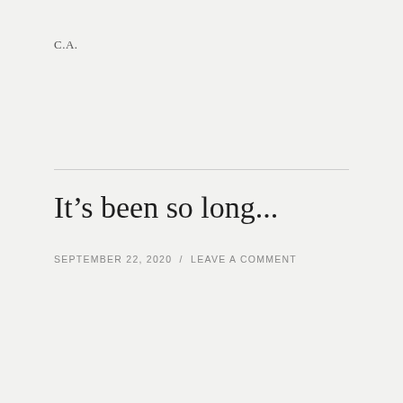C.A.
It’s been so long...
SEPTEMBER 22, 2020  /  LEAVE A COMMENT